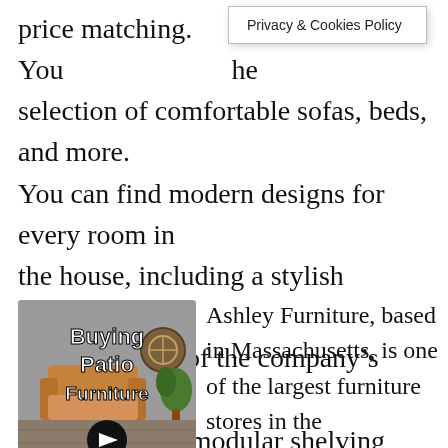price matching. You he selection of comfortable sofas, beds, and more. You can find modern designs for every room in the house, including a stylish platform bed. A unique feature of the company's contemporary furniture is the modular shelving system.
[Figure (illustration): Thumbnail image with text 'Buying Patio Furniture' over a cartoon-style outdoor furniture scene with a circular arrow button overlay]
Ashley Furniture, based in Massachusetts, is one of the largest furniture stores in the Northeastern U.S. Their extensive catalog includes an array of modern furniture and offers free delivery. They also offer a free design service for new customers. The company